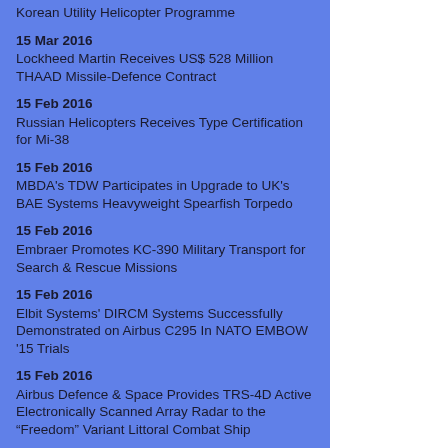Korean Utility Helicopter Programme
15 Mar 2016
Lockheed Martin Receives US$ 528 Million THAAD Missile-Defence Contract
15 Feb 2016
Russian Helicopters Receives Type Certification for Mi-38
15 Feb 2016
MBDA's TDW Participates in Upgrade to UK's BAE Systems Heavyweight Spearfish Torpedo
15 Feb 2016
Embraer Promotes KC-390 Military Transport for Search & Rescue Missions
15 Feb 2016
Elbit Systems' DIRCM Systems Successfully Demonstrated on Airbus C295 In NATO EMBOW '15 Trials
15 Feb 2016
Airbus Defence & Space Provides TRS-4D Active Electronically Scanned Array Radar to the “Freedom” Variant Littoral Combat Ship
15 Feb 2016
RBS15 Successfully Test-Fired By the Croatian Navy